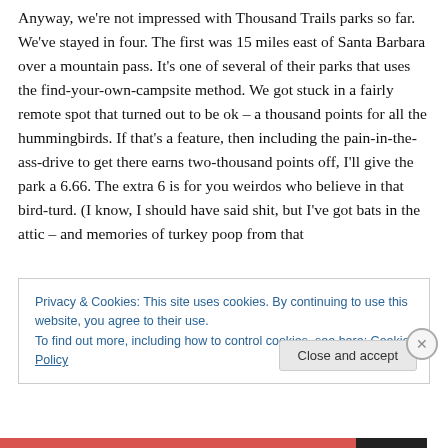Anyway, we're not impressed with Thousand Trails parks so far. We've stayed in four. The first was 15 miles east of Santa Barbara over a mountain pass. It's one of several of their parks that uses the find-your-own-campsite method. We got stuck in a fairly remote spot that turned out to be ok – a thousand points for all the hummingbirds. If that's a feature, then including the pain-in-the-ass-drive to get there earns two-thousand points off, I'll give the park a 6.66. The extra 6 is for you weirdos who believe in that bird-turd. (I know, I should have said shit, but I've got bats in the attic – and memories of turkey poop from that
Privacy & Cookies: This site uses cookies. By continuing to use this website, you agree to their use.
To find out more, including how to control cookies, see here: Cookie Policy